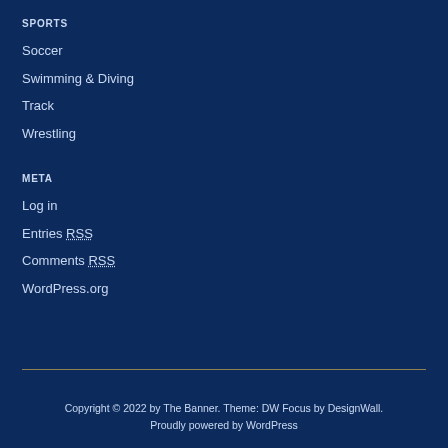SPORTS
Soccer
Swimming & Diving
Track
Wrestling
META
Log in
Entries RSS
Comments RSS
WordPress.org
Copyright © 2022 by The Banner. Theme: DW Focus by DesignWall. Proudly powered by WordPress